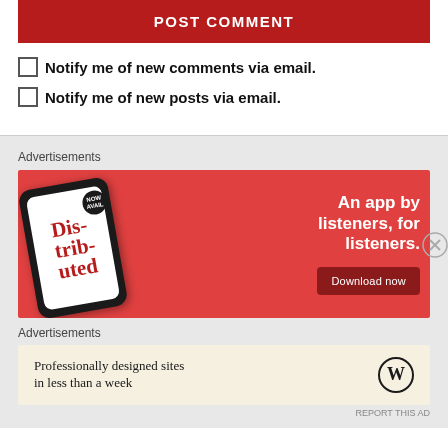POST COMMENT
Notify me of new comments via email.
Notify me of new posts via email.
Advertisements
[Figure (illustration): Red advertisement banner for a podcast/listening app showing a smartphone with 'Distributed' text on screen, headline 'An app by listeners, for listeners.' and a 'Download now' button]
Advertisements
[Figure (illustration): Beige advertisement banner for WordPress showing 'Professionally designed sites in less than a week' with WordPress logo]